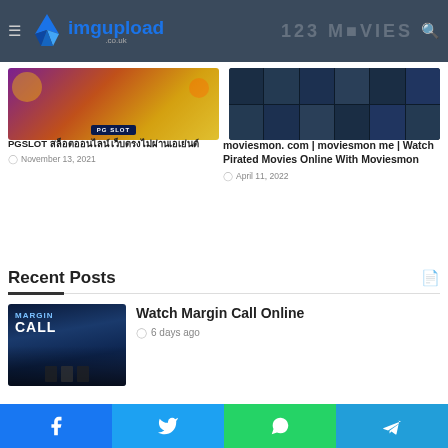imgupload.co.uk | 123 Movies
[Figure (screenshot): PGSLOT game banner with animated characters and PG slot logo]
PGSLOT สล็อตออนไลน์ เว็บตรงไม่ผ่านเอเย่นต์
November 13, 2021
[Figure (screenshot): 123movies website screenshot showing movie grid]
moviesmon. com | moviesmon me | Watch Pirated Movies Online With Moviesmon
April 11, 2022
Recent Posts
[Figure (photo): Margin Call movie poster with men in suits]
Watch Margin Call Online
6 days ago